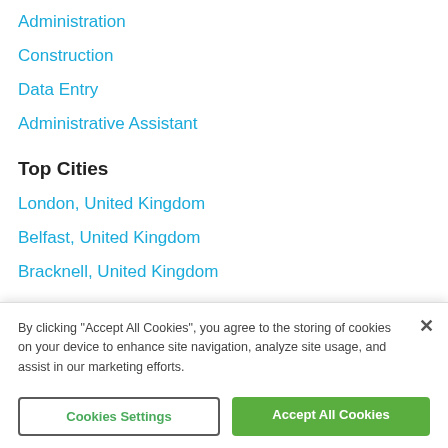Administration
Construction
Data Entry
Administrative Assistant
Top Cities
London, United Kingdom
Belfast, United Kingdom
Bracknell, United Kingdom
Top Companies
By clicking "Accept All Cookies", you agree to the storing of cookies on your device to enhance site navigation, analyze site usage, and assist in our marketing efforts.
Cookies Settings
Accept All Cookies